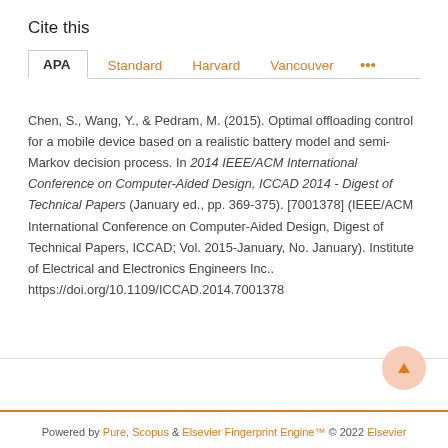Cite this
APA  Standard  Harvard  Vancouver  •••
Chen, S., Wang, Y., & Pedram, M. (2015). Optimal offloading control for a mobile device based on a realistic battery model and semi-Markov decision process. In 2014 IEEE/ACM International Conference on Computer-Aided Design, ICCAD 2014 - Digest of Technical Papers (January ed., pp. 369-375). [7001378] (IEEE/ACM International Conference on Computer-Aided Design, Digest of Technical Papers, ICCAD; Vol. 2015-January, No. January). Institute of Electrical and Electronics Engineers Inc.. https://doi.org/10.1109/ICCAD.2014.7001378
Powered by Pure, Scopus & Elsevier Fingerprint Engine™ © 2022 Elsevier